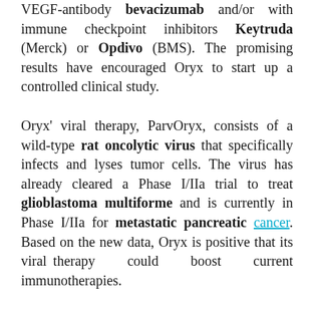VEGF-antibody bevacizumab and/or with immune checkpoint inhibitors Keytruda (Merck) or Opdivo (BMS). The promising results have encouraged Oryx to start up a controlled clinical study.
Oryx' viral therapy, ParvOryx, consists of a wild-type rat oncolytic virus that specifically infects and lyses tumor cells. The virus has already cleared a Phase I/IIa trial to treat glioblastoma multiforme and is currently in Phase I/IIa for metastatic pancreatic cancer. Based on the new data, Oryx is positive that its viral therapy could boost current immunotherapies.